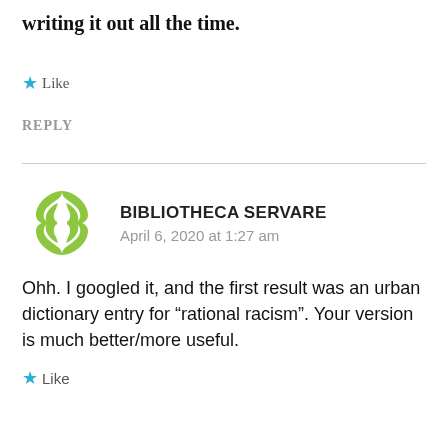writing it out all the time.
★ Like
REPLY
[Figure (logo): Green interlocking knot/diamond pattern avatar for Bibliotheca Servare]
BIBLIOTHECA SERVARE
April 6, 2020 at 1:27 am
Ohh. I googled it, and the first result was an urban dictionary entry for “rational racism”. Your version is much better/more useful.
★ Like